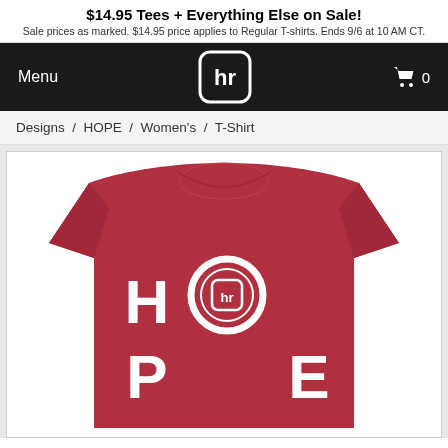$14.95 Tees + Everything Else on Sale! Sale prices as marked. $14.95 price applies to Regular T-shirts. Ends 9/6 at 10 AM CT.
Menu
[Figure (logo): Threadless 'hr' logo in white on black navbar]
0 (cart icon)
Designs / HOPE / Women's / T-Shirt
[Figure (photo): Red/maroon women's t-shirt with HOPE design in white letters, the O replaced by the Threadless hr logo in a circle]